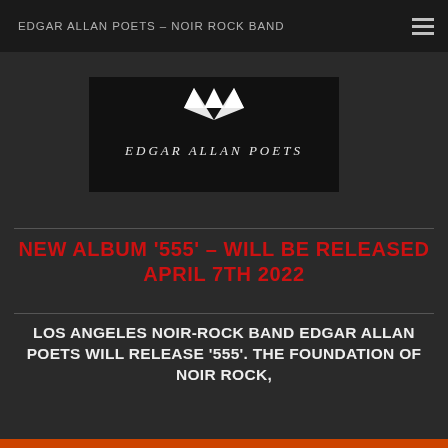EDGAR ALLAN POETS – NOIR ROCK BAND
[Figure (logo): Edgar Allan Poets band logo on black background with stylized gothic lettering and triangular symbol above text]
NEW ALBUM '555' – WILL BE RELEASED APRIL 7TH 2022
LOS ANGELES NOIR-ROCK BAND EDGAR ALLAN POETS WILL RELEASE '555'. THE FOUNDATION OF NOIR ROCK,